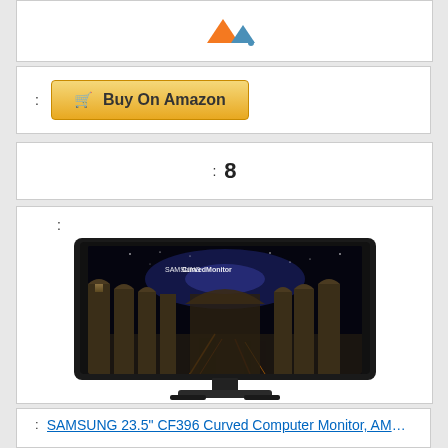[Figure (logo): Orange and blue stylized logo mark resembling abstract triangles/arrows]
: Buy On Amazon
: 8
[Figure (photo): Samsung 23.5 inch CF396 Curved Monitor displaying a Roman colonnade scene]
: SAMSUNG 23.5" CF396 Curved Computer Monitor, AMD FreeSync for Advanced